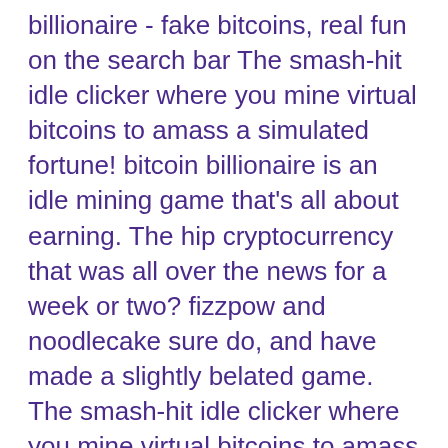billionaire - fake bitcoins, real fun on the search bar The smash-hit idle clicker where you mine virtual bitcoins to amass a simulated fortune! bitcoin billionaire is an idle mining game that's all about earning. The hip cryptocurrency that was all over the news for a week or two? fizzpow and noodlecake sure do, and have made a slightly belated game. The smash-hit idle clicker where you mine virtual bitcoins to amass a simulated fortune! bitcoin billionaire is an idle mining game that's. Bitcoin billionaire - fake bitcoins, real fun hack cheats ios android. how fast can you make it rain? no, really… how fast??? make it rain: love of money is a fiendishly clever idle game that's super easy to pick up. With p2e video games, gamers compete for rewards which will be each cryptocurrency or nfts that signify in-game